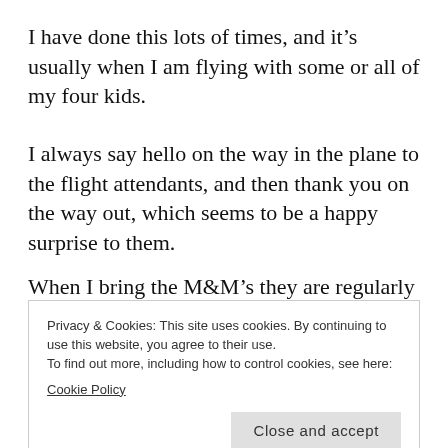I have done this lots of times, and it’s usually when I am flying with some or all of my four kids.
I always say hello on the way in the plane to the flight attendants, and then thank you on the way out, which seems to be a happy surprise to them.
When I bring the M&M’s they are regularly
Privacy & Cookies: This site uses cookies. By continuing to use this website, you agree to their use.
To find out more, including how to control cookies, see here:
Cookie Policy
Close and accept
They will almost always ask for my seat